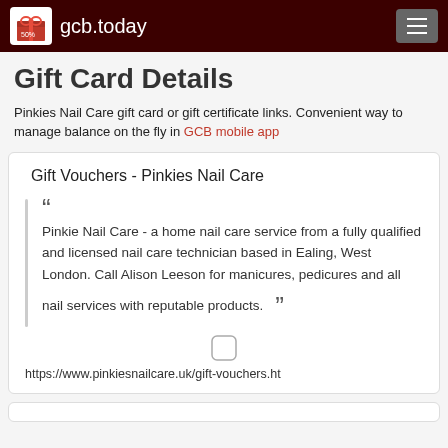gcb.today
Gift Card Details
Pinkies Nail Care gift card or gift certificate links. Convenient way to manage balance on the fly in GCB mobile app
Gift Vouchers - Pinkies Nail Care
Pinkie Nail Care - a home nail care service from a fully qualified and licensed nail care technician based in Ealing, West London. Call Alison Leeson for manicures, pedicures and all nail services with reputable products.
https://www.pinkiesnailcare.uk/gift-vouchers.ht